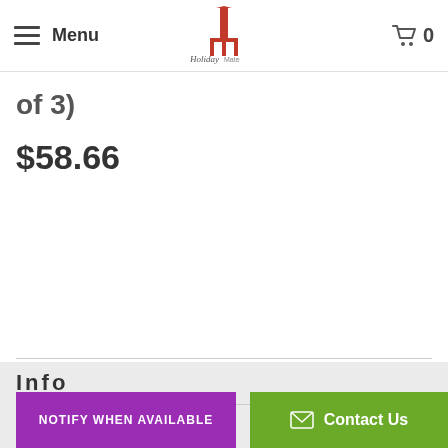Menu | Holiday Mate logo | Cart 0
Nested Red Metal Holiday Bells (Set of 3)
$58.66
Info
Search
About Us
Contact Us
Returns
NOTIFY WHEN AVAILABLE
Contact Us